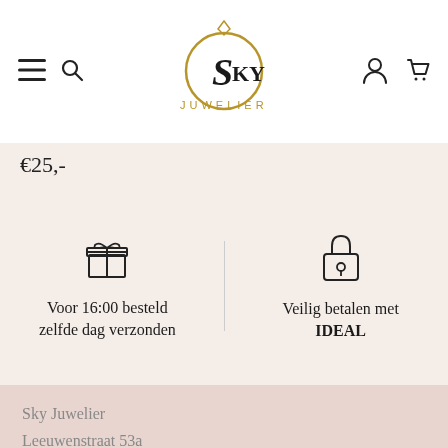[Figure (logo): Sky Juwelier logo with ring and diamond icon]
€25,-
Voor 16:00 besteld zelfde dag verzonden
Veilig betalen met IDEAL
Sky Juwelier
Leeuwenstraat 53a
1211 ET Hilversum
Tel: 035-6316980
Email: info@skyjuwelier.nl